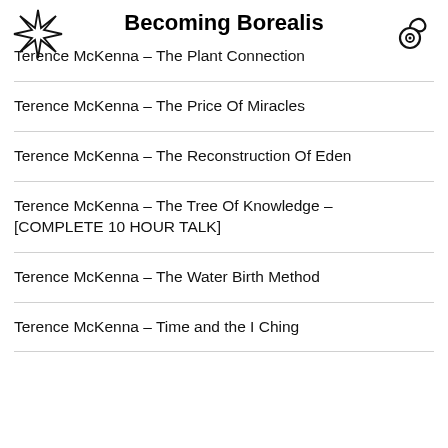Becoming Borealis
Terence McKenna – The Plant Connection
Terence McKenna – The Price Of Miracles
Terence McKenna – The Reconstruction Of Eden
Terence McKenna – The Tree Of Knowledge – [COMPLETE 10 HOUR TALK]
Terence McKenna – The Water Birth Method
Terence McKenna – Time and the I Ching